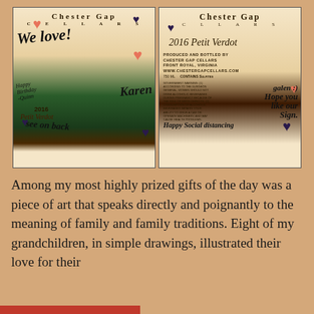[Figure (photo): Two photos of Chester Gap Cellars wine bottles side by side. Left bottle shows the front label with handwritten messages: 'We love!', 'Happy Birthday Karen', '-Quinn', '2016', 'Petit Verdot', 'See on back', decorated with red and dark heart drawings. Right bottle shows the back label with Chester Gap Cellars branding, '2016 Petit Verdot', produced and bottled by Chester Gap Cellars, Front Royal Virginia, www.chestergapcellars.com, and handwritten messages: 'galen :)', 'Hope you like our Sign.', 'Happy Social distancing']
Among my most highly prized gifts of the day was a piece of art that speaks directly and poignantly to the meaning of family and family traditions. Eight of my grandchildren, in simple drawings, illustrated their love for their